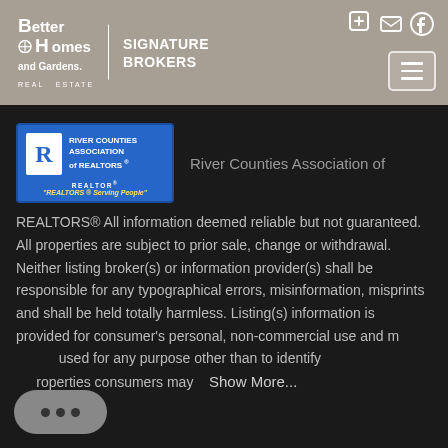[Figure (logo): Better Homes and Gardens Real Estate - Signature Brokers header logo with navigation icons and hamburger menu]
[Figure (logo): River Counties Association of REALTORS badge logo in blue with R symbol and tagline REALTORS Serving People]
River Counties Association of
REALTORS® All information deemed reliable but not guaranteed. All properties are subject to prior sale, change or withdrawal. Neither listing broker(s) or information provider(s) shall be responsible for any typographical errors, misinformation, misprints and shall be held totally harmless. Listing(s) information is provided for consumer's personal, non-commercial use and may not be used for any purpose other than to identify prospective properties consumers may   Show More...